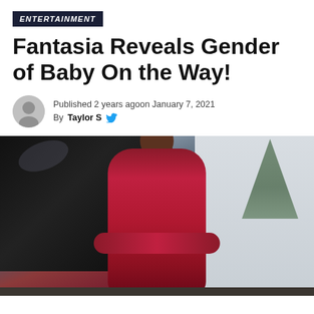ENTERTAINMENT
Fantasia Reveals Gender of Baby On the Way!
Published 2 years agoon January 7, 2021
By Taylor S
[Figure (photo): A pregnant woman in a red off-shoulder dress standing in front of a black grand piano, with a Christmas tree visible in the background and large windows letting in light.]